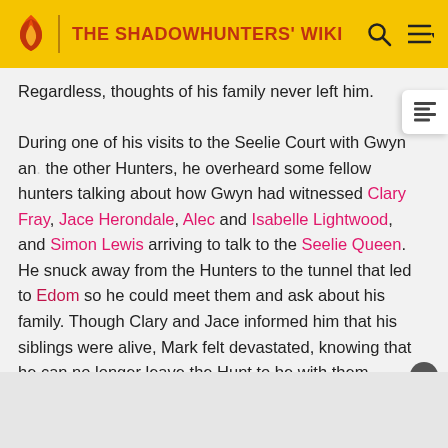THE SHADOWHUNTERS' WIKI
Regardless, thoughts of his family never left him.
During one of his visits to the Seelie Court with Gwyn and the other Hunters, he overheard some fellow hunters talking about how Gwyn had witnessed Clary Fray, Jace Herondale, Alec and Isabelle Lightwood, and Simon Lewis arriving to talk to the Seelie Queen. He snuck away from the Hunters to the tunnel that led to Edom so he could meet them and ask about his family. Though Clary and Jace informed him that his siblings were alive, Mark felt devastated, knowing that he can no longer leave the Hunt to be with them. Nonetheless, Mark asked to go with th...